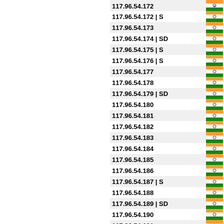| IP Address | Country |
| --- | --- |
| 117.96.54.172 | S | IN |
| 117.96.54.173 | IN |
| 117.96.54.174 | SD | IN |
| 117.96.54.175 | S | IN |
| 117.96.54.176 | S | IN |
| 117.96.54.177 | IN |
| 117.96.54.178 | IN |
| 117.96.54.179 | SD | IN |
| 117.96.54.180 | IN |
| 117.96.54.181 | IN |
| 117.96.54.182 | IN |
| 117.96.54.183 | IN |
| 117.96.54.184 | IN |
| 117.96.54.185 | IN |
| 117.96.54.186 | IN |
| 117.96.54.187 | S | IN |
| 117.96.54.188 | IN |
| 117.96.54.189 | SD | IN |
| 117.96.54.190 | IN |
| 117.96.54.191 | IN |
| 117.96.54.192 | S | IN |
| 117.96.54.193 | IN |
| 117.96.54.194 | IN |